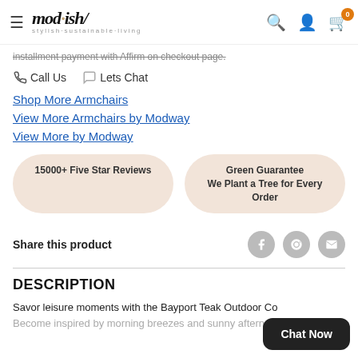mod·ish/ stylish·sustainable·living
installment payment with Affirm on checkout page.
Call Us   Lets Chat
Shop More Armchairs
View More Armchairs by Modway
View More by Modway
15000+ Five Star Reviews
Green Guarantee
We Plant a Tree for Every Order
Share this product
DESCRIPTION
Savor leisure moments with the Bayport Teak Outdoor Co
Become inspired by morning breezes and sunny afternoon